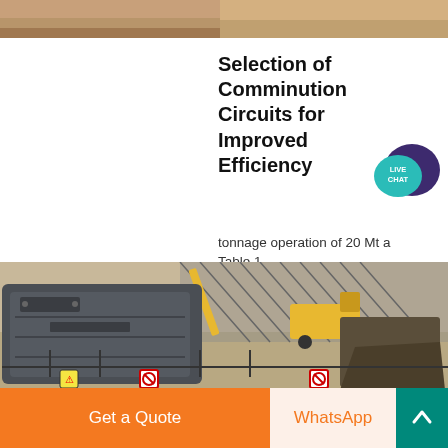[Figure (photo): Top cropped landscape/terrain image strip]
Selection of Comminution Circuits for Improved Efficiency
tonnage operation of 20 Mt a Table 1
[Figure (photo): Industrial mining/crushing machinery at a construction or mining site. Large grey crusher in foreground, yellow trucks and cranes in background.]
[Figure (logo): LIVE CHAT speech bubble icon in teal/blue with dark purple chat bubble overlay]
Get a Quote
WhatsApp